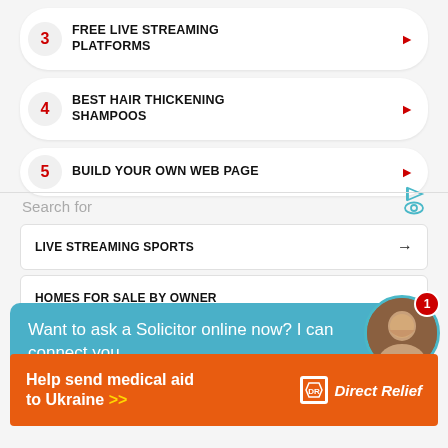3 FREE LIVE STREAMING PLATFORMS
4 BEST HAIR THICKENING SHAMPOOS
5 BUILD YOUR OWN WEB PAGE
Search for
LIVE STREAMING SPORTS
HOMES FOR SALE BY OWNER
FREE LIVE STREAMING PLATFORMS
Want to ask a Solicitor online now? I can connect you ...
BUILD YOUR OWN WEB PAGE
Help send medical aid to Ukraine >> DirectRelief